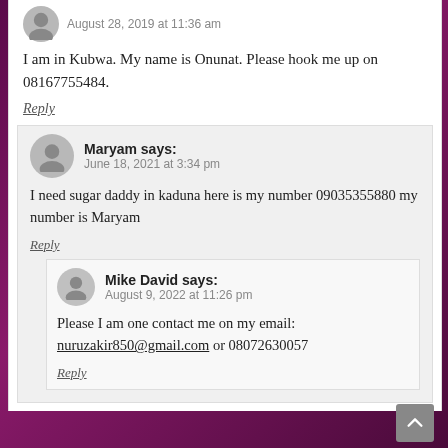August 28, 2019 at 11:36 am
I am in Kubwa. My name is Onunat. Please hook me up on 08167755484.
Reply
Maryam says: June 18, 2021 at 3:34 pm
I need sugar daddy in kaduna here is my number 09035355880 my number is Maryam
Reply
Mike David says: August 9, 2022 at 11:26 pm
Please I am one contact me on my email: nuruzakir850@gmail.com or 08072630057
Reply